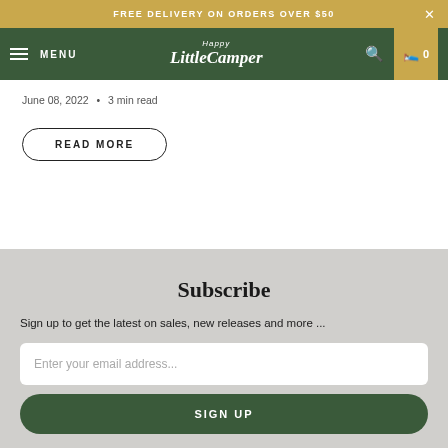FREE DELIVERY ON ORDERS OVER $50
Happy Little Camper — MENU
June 08, 2022 • 3 min read
READ MORE
Subscribe
Sign up to get the latest on sales, new releases and more ...
Enter your email address...
SIGN UP